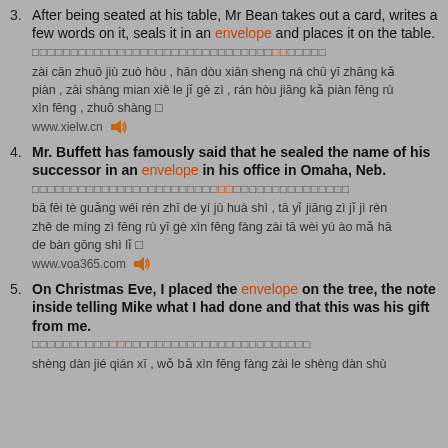3. After being seated at his table, Mr Bean takes out a card, writes a few words on it, seals it in an envelope and places it on the table.
[Chinese characters] zai can zhuo jiu zuo hou , han dou xian sheng na chu yi zhang ka pian , zai shang mian xie le ji ge zi , ran hou jiang ka pian feng ru xin feng , zhuo shang [char] www.xielw.cn
4. Mr. Buffett has famously said that he sealed the name of his successor in an envelope in his office in Omaha, Neb.
[Chinese characters] ba fei te guang wei ren zhi de yi ju hua shi , ta yi jiang zi ji ji ren zhe de ming zi feng ru yi ge xin feng fang zai ta wei yu ao ma ha de ban gong shi li [char] www.voa365.com
5. On Christmas Eve, I placed the envelope on the tree, the note inside telling Mike what I had done and that this was his gift from me.
[Chinese characters] sheng dan jie qian xi , wo ba xin feng fang zai le sheng dan shu...